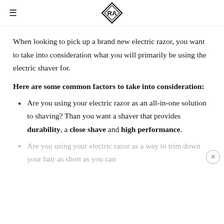RA logo with hamburger menu
When looking to pick up a brand new electric razor, you want to take into consideration what you will primarily be using the electric shaver for.
Here are some common factors to take into consideration:
Are you using your electric razor as an all-in-one solution to shaving? Than you want a shaver that provides durability, a close shave and high performance.
Are you using your electric razor as a way to trim down your hair as short as you can